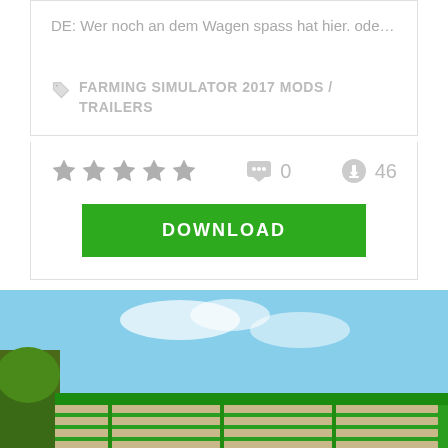DE: Wer noch an dem Wagen spass hat hier. ode…
FARMING SIMULATOR 2017 MODS / TRAILERS
★★★★★  💬 0   ⬇ 46
DOWNLOAD
[Figure (screenshot): Screenshot of a green farming trailer/wagon from Farming Simulator 2017 game, showing a large green vehicle with horizontal slats/rails, trees and blue sky in background.]